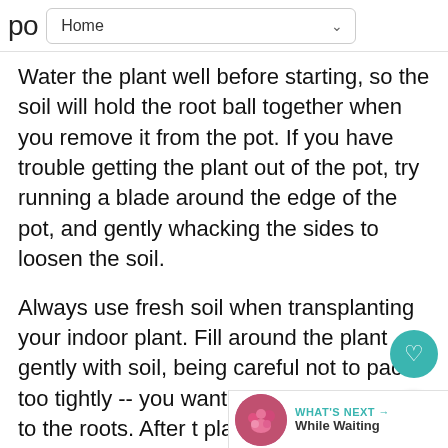po  Home
Water the plant well before starting, so the soil will hold the root ball together when you remove it from the pot. If you have trouble getting the plant out of the pot, try running a blade around the edge of the pot, and gently whacking the sides to loosen the soil.
Always use fresh soil when transplanting your indoor plant. Fill around the plant gently with soil, being careful not to pack too tightly -- you want air to be able to get to the roots. After the plant is in the new pot, don't fertilize right away... this will encourage the roots to fill their new home.